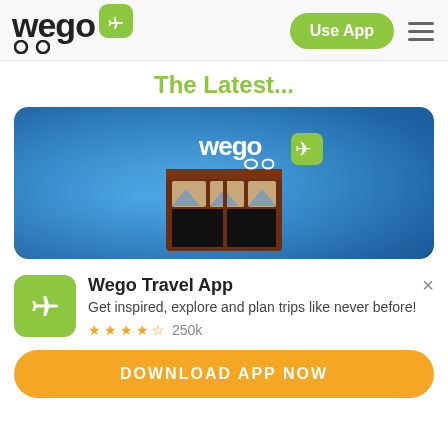[Figure (logo): Wego logo with green airplane icon box and stylized text]
Use App
The Latest...
[Figure (photo): Wego branded hero image showing a blue textured wall with a brown window and Wego logo overlay]
Wego Travel App
Get inspired, explore and plan trips like never before!
★★★★½ 250k
DOWNLOAD APP NOW